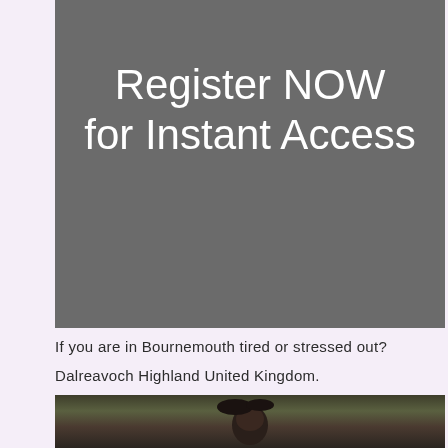[Figure (other): Dark grey banner with white text reading 'Register NOW for Instant Access']
Register NOW for Instant Access
If you are in Bournemouth tired or stressed out? Dalreavoch Highland United Kingdom.
[Figure (photo): Partial photo of a person with dark hair against a dark blurred outdoor background]